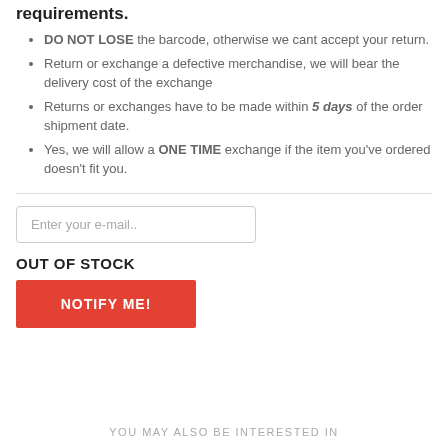requirements.
DO NOT LOSE the barcode, otherwise we cant accept your return.
Return or exchange a defective merchandise, we will bear the delivery cost of the exchange
Returns or exchanges have to be made within 5 days of the order shipment date.
Yes, we will allow a ONE TIME exchange if the item you've ordered doesn't fit you.
Enter your e-mail..
OUT OF STOCK
NOTIFY ME!
YOU MAY ALSO BE INTERESTED IN